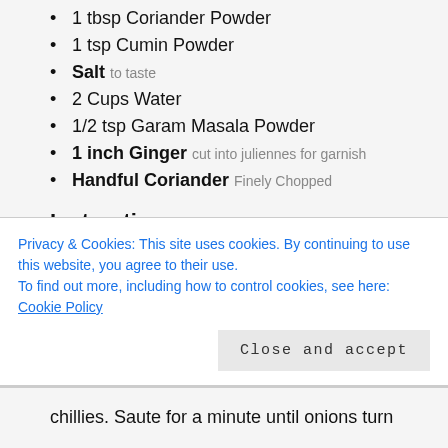1 tbsp Coriander Powder
1 tsp Cumin Powder
Salt to taste
2 Cups Water
1/2 tsp Garam Masala Powder
1 inch Ginger cut into juliennes for garnish
Handful Coriander Finely Chopped
Instructions
PREP FOR BLACK EYED PEAS CURRY
Soak the black eyed pea in 3 cups water for 4 hours. This step is optional, but recommended.
Privacy & Cookies: This site uses cookies. By continuing to use this website, you agree to their use. To find out more, including how to control cookies, see here: Cookie Policy
chillies. Saute for a minute until onions turn